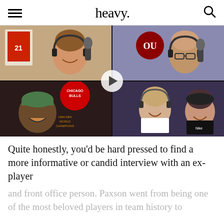heavy.
[Figure (screenshot): Video thumbnail showing a 2x2 grid of podcast participants recording via video call. Top-left: smiling man in red shirt with microphone and Chicago Bulls jersey #21 on wall. Top-right: bald man with glasses and headphones in red shirt. Bottom-left: man in green cap laughing with Chicago Bulls memorabilia in background including 1993 NBA World Champions banner. Bottom-right: man in white shirt and woman in black shirt with headphones, laughing. A play button overlay is centered on the video.]
Quite honestly, you’d be hard pressed to find a more informative or candid interview with an ex-player
and front office person. Paxson went from being one of the most beloved players in team history to